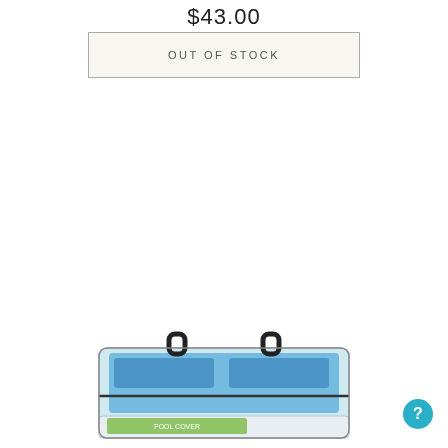$43.00
OUT OF STOCK
[Figure (photo): A clear/transparent zippered storage bag with black handles containing blue pool or camping equipment, with product label visible at bottom.]